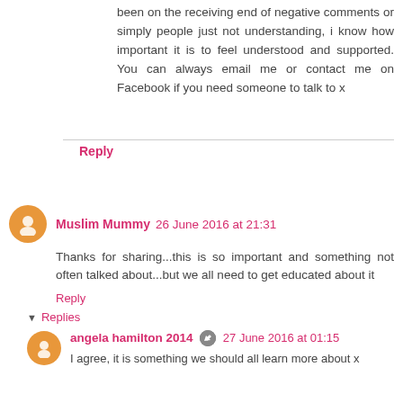been on the receiving end of negative comments or simply people just not understanding, i know how important it is to feel understood and supported. You can always email me or contact me on Facebook if you need someone to talk to x
Reply
Muslim Mummy 26 June 2016 at 21:31
Thanks for sharing...this is so important and something not often talked about...but we all need to get educated about it
Reply
Replies
angela hamilton 2014 27 June 2016 at 01:15
I agree, it is something we should all learn more about x